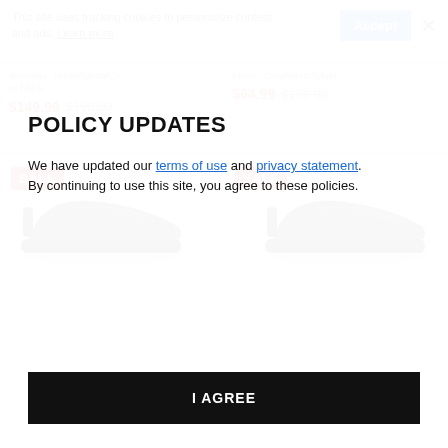This site uses tracking cookies to personalize content and ads. Learn more
Womens · White/White/Co re Black
$149.99  $190.00
Mens · Grey/White/Silver
$64.99  $100.00
[Figure (photo): Two product cards showing sneakers with SALE badges. Left card: black sneaker, right card: black/grey sneaker.]
POLICY UPDATES
We have updated our terms of use and privacy statement. By continuing to use this site, you agree to these policies.
I AGREE